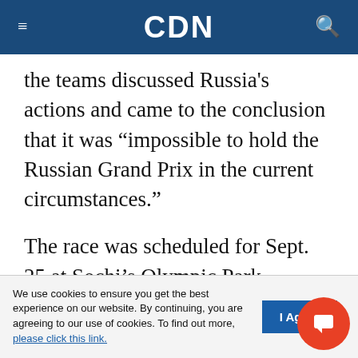CDN
the teams discussed Russia's actions and came to the conclusion that it was “impossible to hold the Russian Grand Prix in the current circumstances.”
The race was scheduled for Sept. 25 at Sochi’s Olympic Park.
The International Judo Federation (IJF) said it had canceled its May 20 to May 22 Grand Slam event in Kazan, Russia, but in a brief statement IJF president Marius Vizer did not make any reference to Russia or Ukraine.
We use cookies to ensure you get the best experience on our website. By continuing, you are agreeing to our use of cookies. To find out more, please click this link.